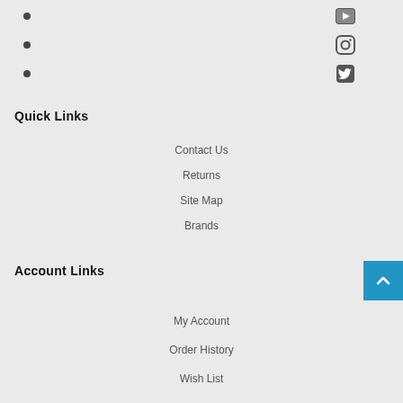• (YouTube icon)
• (Instagram icon)
• (Twitter icon)
Quick Links
Contact Us
Returns
Site Map
Brands
Account Links
My Account
Order History
Wish List